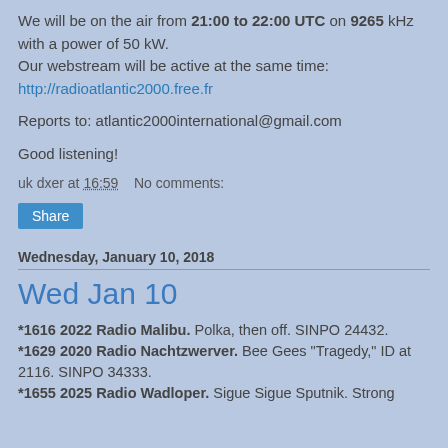We will be on the air from 21:00 to 22:00 UTC on 9265 kHz with a power of 50 kW.
Our webstream will be active at the same time:
http://radioatlantic2000.free.fr
Reports to: atlantic2000international@gmail.com
Good listening!
uk dxer at 16:59    No comments:
Share
Wednesday, January 10, 2018
Wed Jan 10
*1616 2022 Radio Malibu. Polka, then off. SINPO 24432.
*1629 2020 Radio Nachtzwerver. Bee Gees "Tragedy," ID at 2116. SINPO 34333.
*1655 2025 Radio Wadloper. Sigue Sigue Sputnik. Strong